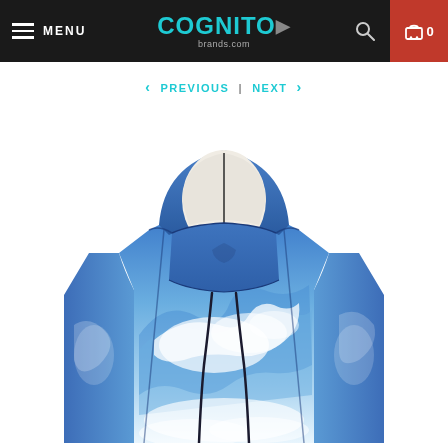MENU | COGNITO brands.com | 0
< PREVIOUS | NEXT >
[Figure (photo): A headless mannequin wearing a blue ocean wave printed hoodie with an integrated face mask/balaclava feature. The hoodie has a photographic print of a crashing ocean wave in blues and whites. The face mask portion covers the lower face area and attaches to the hood.]